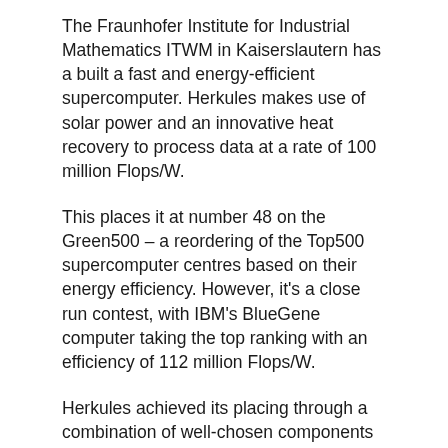The Fraunhofer Institute for Industrial Mathematics ITWM in Kaiserslautern has a built a fast and energy-efficient supercomputer. Herkules makes use of solar power and an innovative heat recovery to process data at a rate of 100 million Flops/W.
This places it at number 48 on the Green500 – a reordering of the Top500 supercomputer centres based on their energy efficiency. However, it's a close run contest, with IBM's BlueGene computer taking the top ranking with an efficiency of 112 million Flops/W.
Herkules achieved its placing through a combination of well-chosen components and an innovative design. Instead of an energy-consuming air conditioning system, the computer uses a smart ventilation system with integrated heat recovery. This makes use of an absorption refrigerator to cool the CPUs, but also makes use of the excess heat to warm the building in cool weather.
The specially chosen components include power-saving dual core processors and efficient power supplies. We...